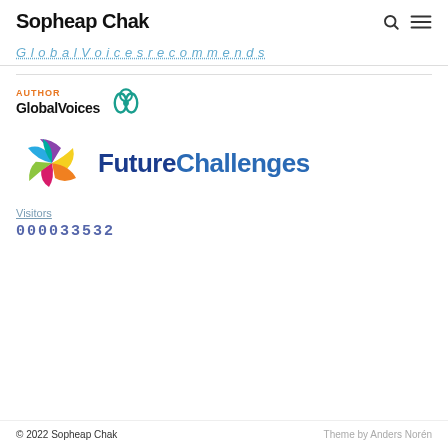Sopheap Chak
AUTHOR GlobalVoices [knot logo]
[Figure (logo): FutureChallenges logo with colorful pinwheel and text 'FutureChallenges']
Visitors
000033532
© 2022 Sopheap Chak    Theme by Anders Norén